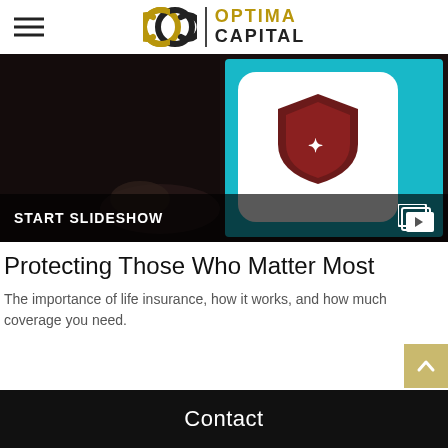OPTIMA CAPITAL
[Figure (screenshot): Slideshow banner image showing a dark background with a tablet displaying life insurance content. A white shield icon with a dark emblem is overlaid in the center-left. On the right side, a tablet screen shows teal/cyan background with green apple graphic and text 'r Options? ermanent LIFE INSURANCE'. The banner has a dark overlay bar at the bottom reading 'START SLIDESHOW' with a slideshow icon on the right.]
Protecting Those Who Matter Most
The importance of life insurance, how it works, and how much coverage you need.
Contact